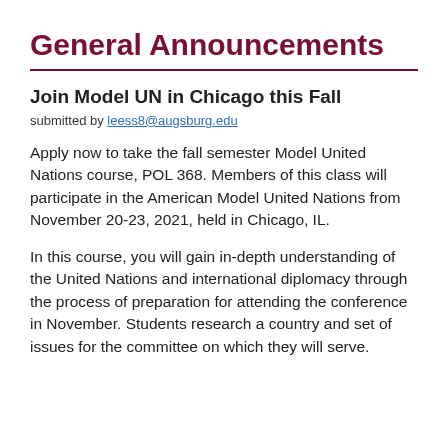General Announcements
Join Model UN in Chicago this Fall
submitted by leess8@augsburg.edu
Apply now to take the fall semester Model United Nations course, POL 368. Members of this class will participate in the American Model United Nations from November 20-23, 2021, held in Chicago, IL.
In this course, you will gain in-depth understanding of the United Nations and international diplomacy through the process of preparation for attending the conference in November. Students research a country and set of issues for the committee on which they will serve.